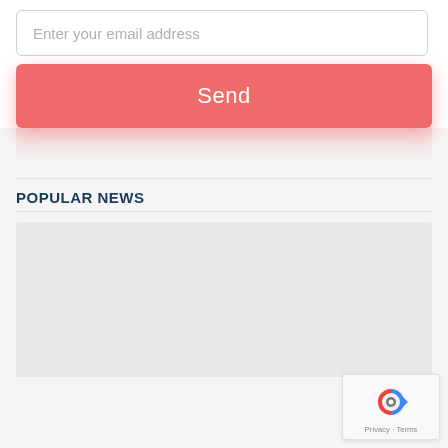Enter your email address
Send
POPULAR NEWS
[Figure (other): Blank gray image placeholder for a news article thumbnail]
[Figure (other): Google reCAPTCHA badge with logo and Privacy - Terms text]